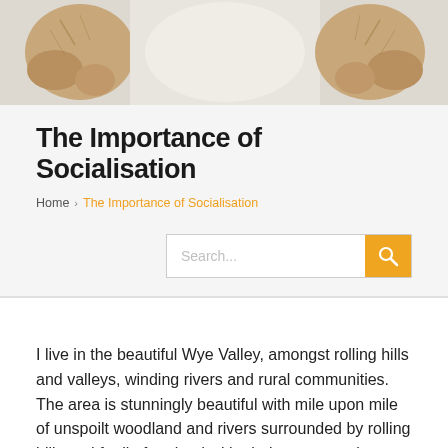[Figure (photo): Top portion of a photo showing what appears to be an animal (dog or cat) on a light-colored surface, showing paws and fur]
The Importance of Socialisation
Home > The Importance of Socialisation
Search...
I live in the beautiful Wye Valley, amongst rolling hills and valleys, winding rivers and rural communities. The area is stunningly beautiful with mile upon mile of unspoilt woodland and rivers surrounded by rolling hills and fertile farmland with glorious mountain ranges perfecting the picture. There are many small villages and a few towns dotted across the landscape. The